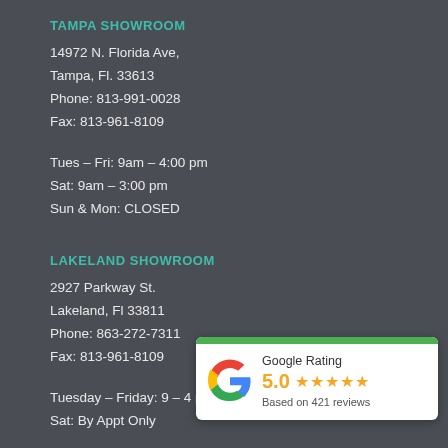TAMPA SHOWROOM
14972 N. Florida Ave,
Tampa, Fl. 33613
Phone: 813-991-0028
Fax: 813-961-8109
Tues – Fri: 9am – 4:00 pm
Sat: 9am – 3:00 pm
Sun & Mon: CLOSED
LAKELAND SHOWROOM
2927 Parkway St.
Lakeland, Fl 33811
Phone: 863-272-7311
Fax: 813-961-8109
Tuesday – Friday: 9 – 4 pm
Sat: By Appt Only
[Figure (infographic): Google Rating widget showing 5.0 stars based on 421 reviews, with Google 'G' logo and green top bar.]